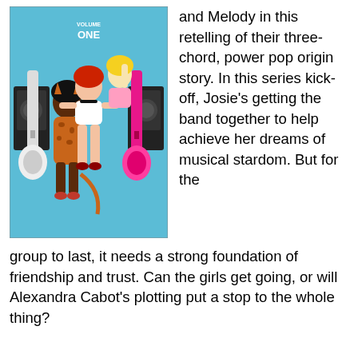[Figure (illustration): Comic book cover illustration showing three young women — a blonde, a redhead in a leopard-print outfit, and a dark-skinned woman — posing with electric guitars against a teal background. Text on cover reads 'VOLUME ONE'.]
and Melody in this retelling of their three-chord, power pop origin story. In this series kick-off, Josie's getting the band together to help achieve her dreams of musical stardom. But for the group to last, it needs a strong foundation of friendship and trust. Can the girls get going, or will Alexandra Cabot's plotting put a stop to the whole thing?